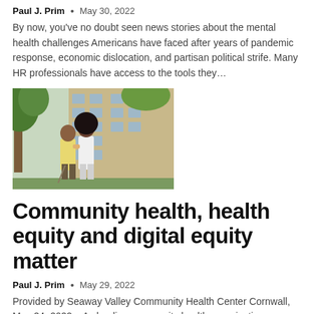Paul J. Prim  •  May 30, 2022
By now, you've no doubt seen news stories about the mental health challenges Americans have faced after years of pandemic response, economic dislocation, and partisan political strife. Many HR professionals have access to the tools they…
[Figure (photo): An older man in a yellow shirt and a woman in a white top walking outdoors in front of a building with trees]
Community health, health equity and digital equity matter
Paul J. Prim  •  May 29, 2022
Provided by Seaway Valley Community Health Center Cornwall, May 24, 2022 – As leading community health organizations, we